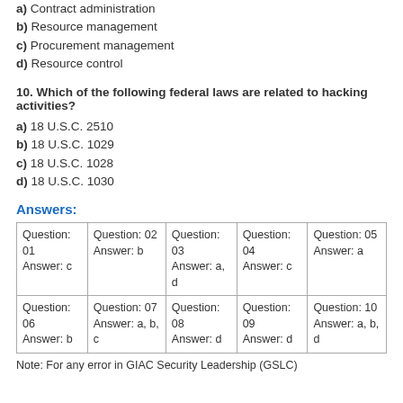a) Contract administration
b) Resource management
c) Procurement management
d) Resource control
10. Which of the following federal laws are related to hacking activities?
a) 18 U.S.C. 2510
b) 18 U.S.C. 1029
c) 18 U.S.C. 1028
d) 18 U.S.C. 1030
Answers:
| Question: 01
Answer: c | Question: 02
Answer: b | Question: 03
Answer: a, d | Question: 04
Answer: c | Question: 05
Answer: a |
| Question: 06
Answer: b | Question: 07
Answer: a, b, c | Question: 08
Answer: d | Question: 09
Answer: d | Question: 10
Answer: a, b, d |
Note: For any error in GIAC Security Leadership (GSLC)